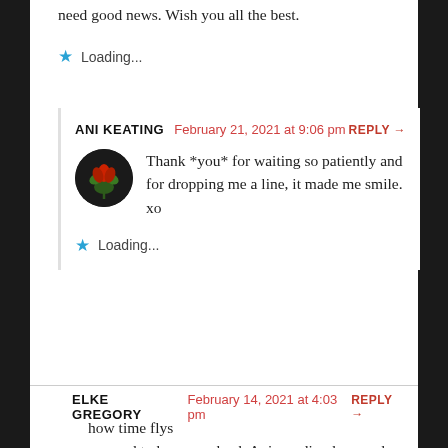need good news. Wish you all the best.
★ Loading...
ANI KEATING  February 21, 2021 at 9:06 pm  REPLY →
[Figure (photo): Circular avatar with dark background showing a red and green plant/flower]
Thank *you* for waiting so patiently and for dropping me a line, it made me smile. xo
★ Loading...
ELKE GREGORY  February 14, 2021 at 4:03 pm  REPLY →
how time flys
so good to have you back Ani. sending love and